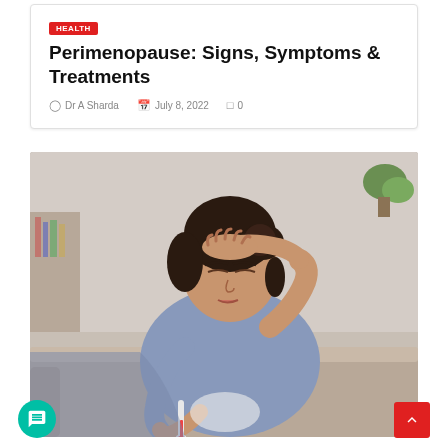HEALTH
Perimenopause: Signs, Symptoms & Treatments
Dr A Sharda   July 8, 2022   0
[Figure (photo): A woman sitting on a couch holding a thermometer in one hand and pressing her other hand to her forehead, appearing unwell or experiencing symptoms of perimenopause.]